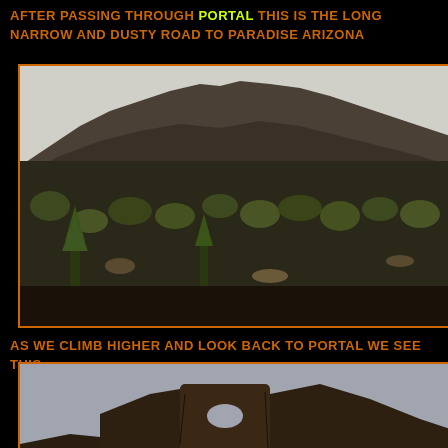AFTER PASSING THROUGH PORTAL THIS IS THE LONG NARROW AND DUSTY ROAD TO PARADISE ARIZONA
[Figure (photo): Landscape photo showing rocky mountain peaks with shrubby vegetation in the foreground, taken along the road to Paradise, Arizona]
AS WE CLIMB HIGHER AND LOOK BACK TO PORTAL WE SEE THIS
[Figure (photo): Photo looking back toward Portal showing distinctive rock formations including a prominent butte with a natural hole/arch in it, at dusk or dawn]